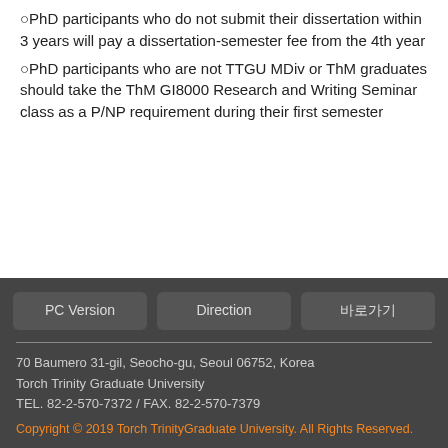PhD participants who do not submit their dissertation within 3 years will pay a dissertation-semester fee from the 4th year
PhD participants who are not TTGU MDiv or ThM graduates should take the ThM GI8000 Research and Writing Seminar class as a P/NP requirement during their first semester
PC Version | Direction | 바로가기
70 Baumero 31-gil, Seocho-gu, Seoul 06752, Korea
Torch Trinity Graduate University
TEL. 82-2-570-7372 / FAX. 82-2-570-7379
Copyright © 2019 Torch TrinityGraduate University. All Rights Reserved.